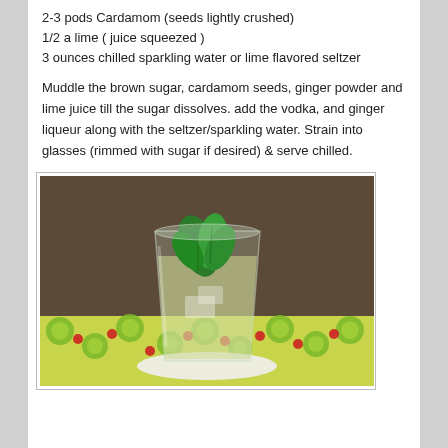2-3 pods Cardamom (seeds lightly crushed)
1/2 a lime ( juice squeezed )
3 ounces chilled sparkling water or lime flavored seltzer
Muddle the brown sugar, cardamom seeds, ginger powder and lime juice till the sugar dissolves. add the vodka, and ginger liqueur along with the seltzer/sparkling water. Strain into glasses (rimmed with sugar if desired) & serve chilled.
[Figure (photo): A cocktail glass filled with a pale yellow-green drink, garnished with fresh mint leaves and ice, sitting on a colorful fruit-patterned tablecloth]